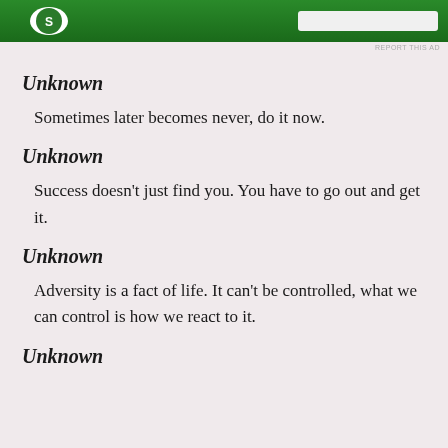[Figure (other): Green banner/advertisement header with logo and search bar]
REPORT THIS AD
Unknown
Sometimes later becomes never, do it now.
Unknown
Success doesn’t just find you. You have to go out and get it.
Unknown
Adversity is a fact of life. It can’t be controlled, what we can control is how we react to it.
Unknown